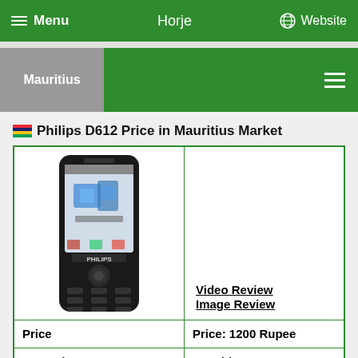Menu  Horje  Website
Mauritius
Philips D612 Price in Mauritius Market
[Figure (photo): Philips D612 mobile phone front view, black color with touch screen showing dual SIM interface]
Video Review
Image Review
| Price | Price: 1200 Rupee |
| --- | --- |
| Countries | Mauritius |